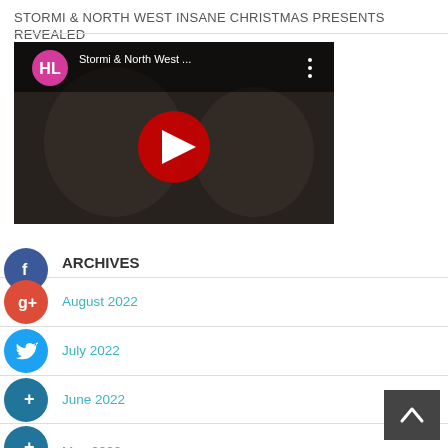STORMI & NORTH WEST INSANE CHRISTMAS PRESENTS REVEALED
[Figure (screenshot): YouTube video thumbnail showing Stormi & North West ... with HL logo, dark image of people, red play button overlay]
ARCHIVES
August 2022
July 2022
June 2022
May 2022
April 2022
March 2022